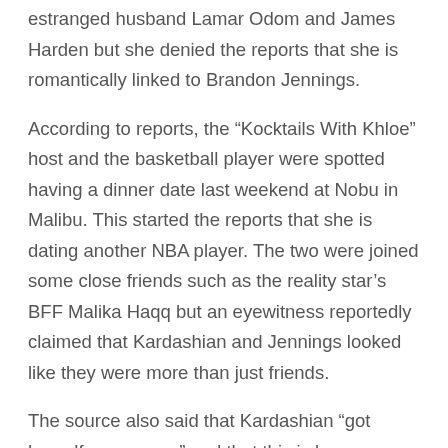estranged husband Lamar Odom and James Harden but she denied the reports that she is romantically linked to Brandon Jennings.
According to reports, the “Kocktails With Khloe” host and the basketball player were spotted having a dinner date last weekend at Nobu in Malibu. This started the reports that she is dating another NBA player. The two were joined some close friends such as the reality star’s BFF Malika Haqq but an eyewitness reportedly claimed that Kardashian and Jennings looked like they were more than just friends.
The source also said that Kardashian “got herself a new man” and that this is her new “high profile relationship.” During the outing, Kardashian was seen wearing a black silk jacket as she had her hair slicked back. She also wore pink glossy lips to complete the look. Jennings, on the other hand, wore a white T-